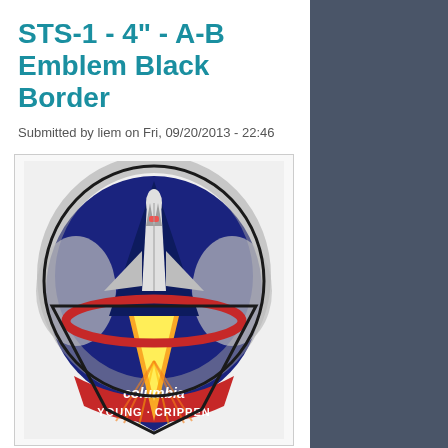STS-1 - 4" - A-B Emblem Black Border
Submitted by liem on Fri, 09/20/2013 - 22:46
[Figure (photo): STS-1 Columbia mission patch emblem with black border, showing space shuttle launching upward with yellow/gold rocket exhaust, red orbital ring, and text 'Columbia' and 'YOUNG · CRIPPEN' at the bottom on a dark blue background, shield-shaped patch]